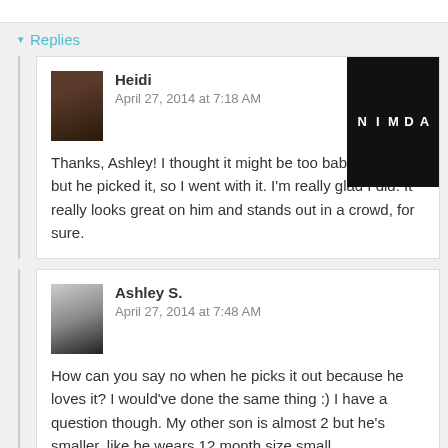▾ Replies
Heidi
April 27, 2014 at 7:18 AM
Thanks, Ashley! I thought it might be too babyish, too, but he picked it, so I went with it. I'm really glad I did. It really looks great on him and stands out in a crowd, for sure.
Ashley S.
April 27, 2014 at 7:48 AM
How can you say no when he picks it out because he loves it? I would've done the same thing :) I have a question though. My other son is almost 2 but he's smaller, like he wears 12 month size small